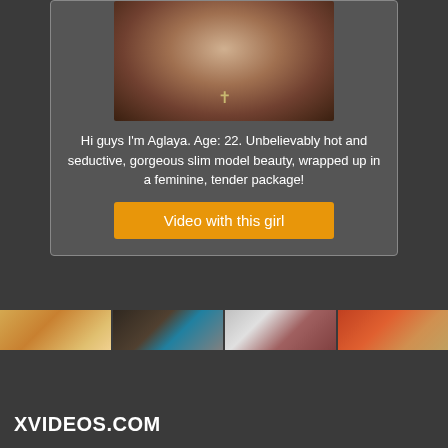[Figure (photo): Photo of a young woman wearing a black off-shoulder top with a cross necklace]
Hi guys I'm Aglaya. Age: 22. Unbelievably hot and seductive, gorgeous slim model beauty, wrapped up in a feminine, tender package!
Video with this girl
[Figure (photo): Row of four video thumbnails showing various scenes]
XVIDEOS.COM